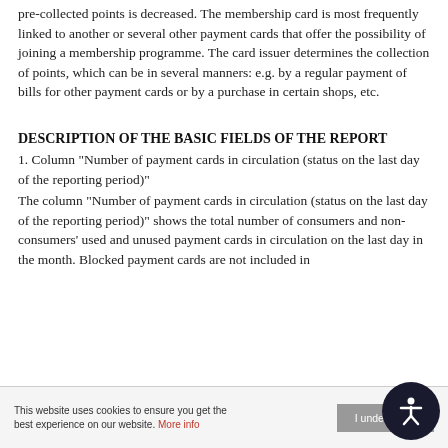pre-collected points is decreased. The membership card is most frequently linked to another or several other payment cards that offer the possibility of joining a membership programme. The card issuer determines the collection of points, which can be in several manners: e.g. by a regular payment of bills for other payment cards or by a purchase in certain shops, etc.
DESCRIPTION OF THE BASIC FIELDS OF THE REPORT
1. Column "Number of payment cards in circulation (status on the last day of the reporting period)"
The column "Number of payment cards in circulation (status on the last day of the reporting period)" shows the total number of consumers and non-consumers' used and unused payment cards in circulation on the last day in the month. Blocked payment cards are not included in
This website uses cookies to ensure you get the best experience on our website. More info